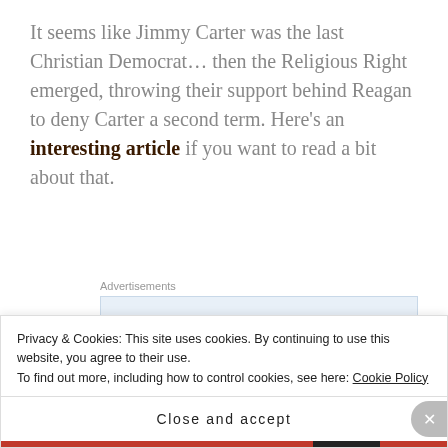It seems like Jimmy Carter was the last Christian Democrat… then the Religious Right emerged, throwing their support behind Reagan to deny Carter a second term. Here's an interesting article if you want to read a bit about that.
[Figure (other): WordPress advertisement banner: 'Build a writing habit. Post on the go.' with GET THE APP button and WordPress logo]
Somehow, over the years since Jimmy Carter was our President, Christian and Democrat became
Privacy & Cookies: This site uses cookies. By continuing to use this website, you agree to their use. To find out more, including how to control cookies, see here: Cookie Policy
Close and accept